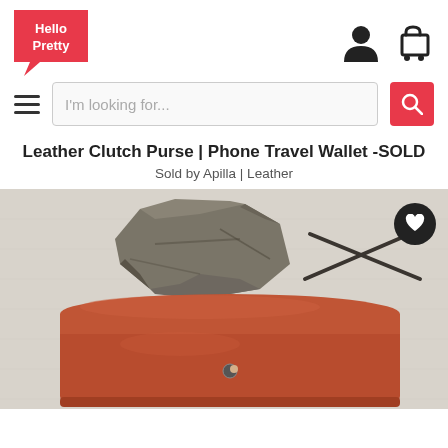[Figure (logo): Hello Pretty logo — red speech-bubble shape with white text 'Hello Pretty']
[Figure (screenshot): Search bar row with hamburger menu icon, search input placeholder 'I'm looking for...', and red search button with magnifying glass icon]
Leather Clutch Purse | Phone Travel Wallet -SOLD
Sold by Apilla | Leather
[Figure (photo): Product photo showing a brown leather clutch purse with stud closure and a rough stone/rock prop on a linen background]